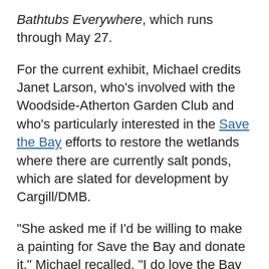Bathtubs Everywhere, which runs through May 27.
For the current exhibit, Michael credits Janet Larson, who's involved with the Woodside-Atherton Garden Club and who's particularly interested in the Save the Bay efforts to restore the wetlands where there are currently salt ponds, which are slated for development by Cargill/DMB.
“She asked me if I’d be willing to make a painting for Save the Bay and donate it,” Michael recalled. “I do love the Bay and said ‘fine.’ From there my interest really kicked in, and the next thing I knew she was suggesting an exhibit at Cafe Borrone. She was very persuasive, saying it would be good for me and